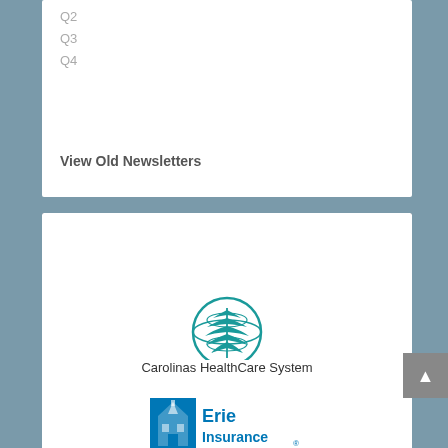Q2
Q3
Q4
View Old Newsletters
CORPORATE PARTNERS
[Figure (logo): Carolinas HealthCare System circular leaf/globe logo in teal]
Carolinas HealthCare System
[Figure (logo): Erie Insurance logo with blue building/church icon and blue Erie Insurance text]